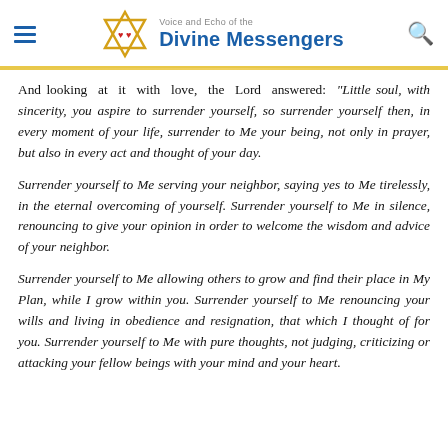Voice and Echo of the Divine Messengers
And looking at it with love, the Lord answered: "Little soul, with sincerity, you aspire to surrender yourself, so surrender yourself then, in every moment of your life, surrender to Me your being, not only in prayer, but also in every act and thought of your day.
Surrender yourself to Me serving your neighbor, saying yes to Me tirelessly, in the eternal overcoming of yourself. Surrender yourself to Me in silence, renouncing to give your opinion in order to welcome the wisdom and advice of your neighbor.
Surrender yourself to Me allowing others to grow and find their place in My Plan, while I grow within you. Surrender yourself to Me renouncing your wills and living in obedience and resignation, that which I thought of for you. Surrender yourself to Me with pure thoughts, not judging, criticizing or attacking your fellow beings with your mind and your heart.